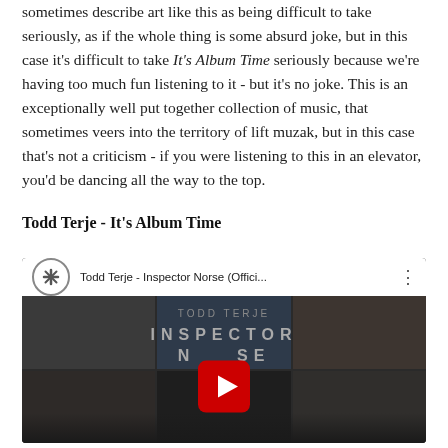sometimes describe art like this as being difficult to take seriously, as if the whole thing is some absurd joke, but in this case it's difficult to take It's Album Time seriously because we're having too much fun listening to it - but it's no joke. This is an exceptionally well put together collection of music, that sometimes veers into the territory of lift muzak, but in this case that's not a criticism - if you were listening to this in an elevator, you'd be dancing all the way to the top.
Todd Terje - It's Album Time
[Figure (screenshot): YouTube video embed showing 'Todd Terje - Inspector Norse (Offici...' with a dark thumbnail grid background displaying 'TODD TERJE' and 'INSPECTOR NORSE' text with a YouTube play button in the center.]